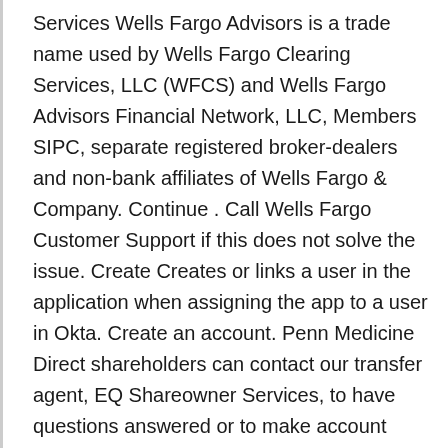Services Wells Fargo Advisors is a trade name used by Wells Fargo Clearing Services, LLC (WFCS) and Wells Fargo Advisors Financial Network, LLC, Members SIPC, separate registered broker-dealers and non-bank affiliates of Wells Fargo & Company. Continue . Call Wells Fargo Customer Support if this does not solve the issue. Create Creates or links a user in the application when assigning the app to a user in Okta. Create an account. Penn Medicine Direct shareholders can contact our transfer agent, EQ Shareowner Services, to have questions answered or to make account updates. Please review the applicable